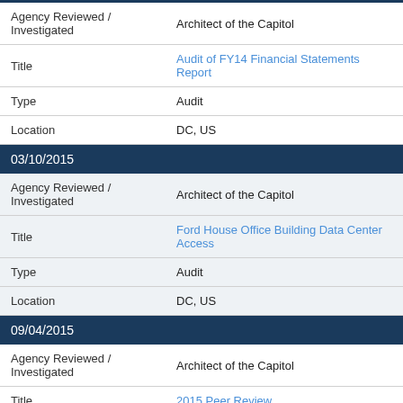| Agency Reviewed / Investigated | Architect of the Capitol |
| Title | Audit of FY14 Financial Statements Report |
| Type | Audit |
| Location | DC, US |
| 03/10/2015 |  |
| Agency Reviewed / Investigated | Architect of the Capitol |
| Title | Ford House Office Building Data Center Access |
| Type | Audit |
| Location | DC, US |
| 09/04/2015 |  |
| Agency Reviewed / Investigated | Architect of the Capitol |
| Title | 2015 Peer Review |
| Type | Review |
| Location | Agency-Wide |